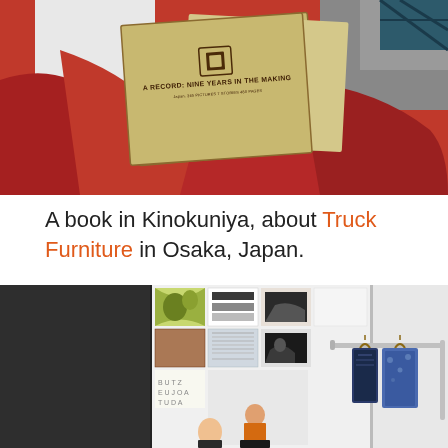[Figure (photo): Photo of a tan/beige book with a logo and text 'A RECORD: NINE YEARS IN THE MAKING' on the cover, held over red fabric/coat, with a grey background.]
A book in Kinokuniya, about Truck Furniture in Osaka, Japan.
[Figure (photo): Interior shot of what appears to be Kinokuniya bookstore or similar retail space, with a dark wall on the left and a display of various printed cards/posters arranged in a grid on the right, along with clothing on hangers and a person partially visible.]